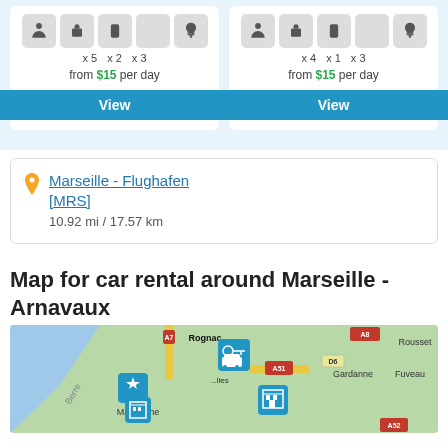x 5  x 2  x 3
from $15 per day
View
x 4  x 1  x 3
from $15 per day
View
Marseille - Flughafen [MRS]
10.92 mi / 17.57 km
Map for car rental around Marseille - Arnavaux
[Figure (map): Map showing car rental locations around Marseille - Arnavaux area, with blue markers for rental locations (airport/hotel markers), roads labeled A7, A8, A51, A52, D6, and place names including Rognac, Marignane, Gardanne, Fuveau, Rousset, Berre.]